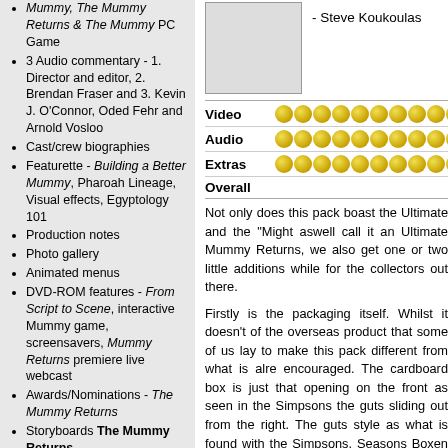Mummy, The Mummy Returns & The Mummy PC Game
3 Audio commentary - 1. Director and editor, 2. Brendan Fraser and 3. Kevin J. O'Connor, Oded Fehr and Arnold Vosloo
Cast/crew biographies
Featurette - Building a Better Mummy, Pharoah Lineage, Visual effects, Egyptology 101
Production notes
Photo gallery
Animated menus
DVD-ROM features - From Script to Scene, interactive Mummy game, screensavers, Mummy Returns premiere live webcast
Awards/Nominations - The Mummy Returns
Storyboards The Mummy Returns
Theatrical trailer
Audio commentary - Writer/director Stephen Sommers & editor/executive producer Bob Duscay
Cast/crew biographies
5 Featurette - The Scorpion King, The Mummy Returns Chamber of Doom, A Special
- Steve Koukoulas
| Category | Rating |
| --- | --- |
| Video | 11.5/12 |
| Audio | 12/12 |
| Extras | 11/12 |
| Overall |  |
Not only does this pack boast the Ultimate and the "Might aswell call it an Ultimate Mummy Returns, we also get one or two little additions while for the collectors out there.
Firstly is the packaging itself. Whilst it doesn't of the overseas product that some of us lay to make this pack different from what is alre encouraged. The cardboard box is just that opening on the front as seen in the Simpsons the guts sliding out from the right. The guts style as what is found with the Simpsons. Seasons Boxen in a gate-fold style where e the 4 discs in the collection. For some reaso